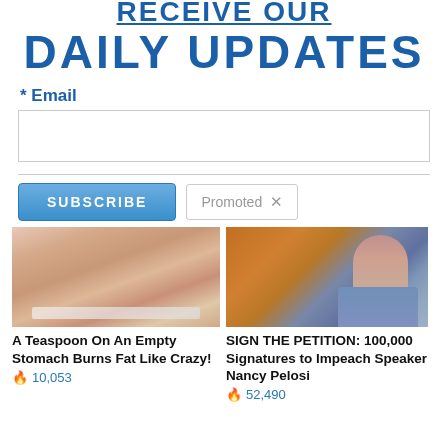RECEIVE OUR
DAILY UPDATES
* Email
SUBSCRIBE
Promoted X
[Figure (photo): Close-up photo of a person's midsection/side torso]
A Teaspoon On An Empty Stomach Burns Fat Like Crazy!
🔥 10,053
[Figure (photo): Photo of a woman with short brown hair in a blue jacket against an orange background]
SIGN THE PETITION: 100,000 Signatures to Impeach Speaker Nancy Pelosi
🔥 52,490